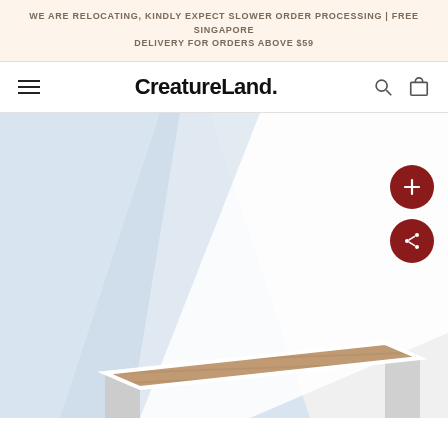WE ARE RELOCATING, KINDLY EXPECT SLOWER ORDER PROCESSING | FREE SINGAPORE DELIVERY FOR ORDERS ABOVE $59
CreatureLand.
[Figure (photo): Cat scratching board / cardboard scratcher pad with textured brown surface and white frame, displayed on light blue and white background with diagonal shadow]